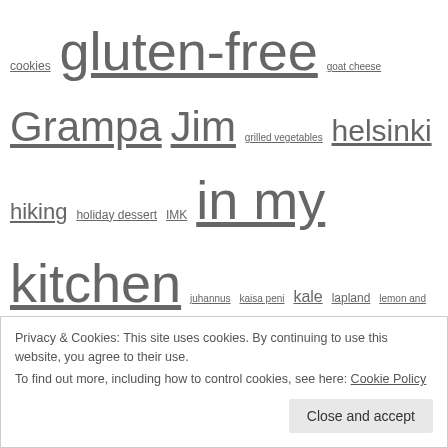cookies gluten-free goat cheese Grampa Jim grilled vegetables helsinki hiking holiday dessert IMK in my kitchen juhannus kaisa peni kale lapland lemon and ginger lingonberries little gifts lunch midnight sun midsummer migration of geese millan putiikki nature no-bake cheesecake NoMU nordic christmas northern sweden october organic pesto pizza places to go postaday quark raspberries Refined sugar free repovesi restaurants rhubarb tart rye crust sautéed vegetables simple pleasures skating slow-cooker spring
Privacy & Cookies: This site uses cookies. By continuing to use this website, you agree to their use. To find out more, including how to control cookies, see here: Cookie Policy